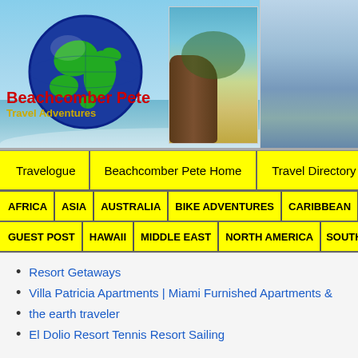[Figure (illustration): Beachcomber Pete Travel Adventures website header banner with globe logo, beach photo, and Golden Gate Bridge photo. Red text 'Beachcomber Pete' and yellow text 'Travel Adventures'.]
Travelogue | Beachcomber Pete Home | Travel Directory | Abo
AFRICA | ASIA | AUSTRALIA | BIKE ADVENTURES | CARIBBEAN | CE
GUEST POST | HAWAII | MIDDLE EAST | NORTH AMERICA | SOUTH A
Resort Getaways
Villa Patricia Apartments | Miami Furnished Apartments &
the earth traveler
El Dolio Resort Tennis Resort Sailing